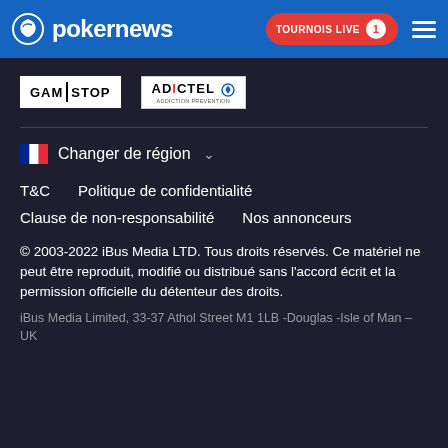pokernews — TOURNOIS LIVE 1
[Figure (logo): GAMSTOP logo and ADICTEL logo side by side]
Changer de région
T&C    Politique de confidentialité
Clause de non-responsabilité    Nos annonceurs
© 2003-2022 iBus Media LTD. Tous droits réservés. Ce matériel ne peut être reproduit, modifié ou distribué sans l'accord écrit et la permission officielle du détenteur des droits.
iBus Media Limited, 33-37 Athol Street M1 1LB -Douglas -Isle of Man –UK